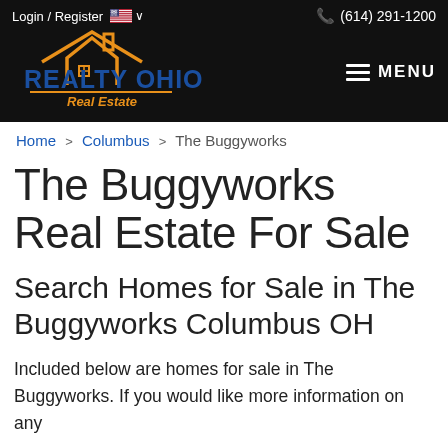Login / Register  🇺🇸 ∨    ☎ (614) 291-1200
[Figure (logo): Realty Ohio Real Estate logo with orange house outline and blue bold text on black background]
Home > Columbus > The Buggyworks
The Buggyworks Real Estate For Sale
Search Homes for Sale in The Buggyworks Columbus OH
Included below are homes for sale in The Buggyworks. If you would like more information on any